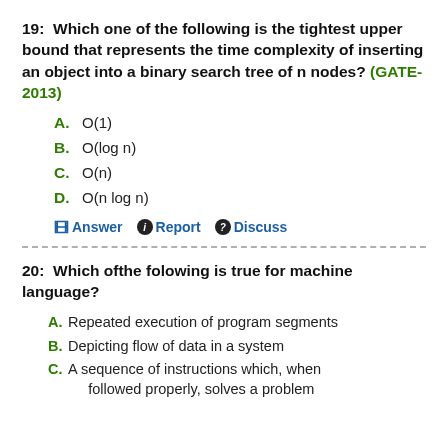19:  Which one of the following is the tightest upper bound that represents the time complexity of inserting an object into a binary search tree of n nodes? (GATE-2013)
A.  O(1)
B.  O(log n)
C.  O(n)
D.  O(n log n)
Answer  Report  Discuss
20:  Which ofthe folowing is true for machine language?
A. Repeated execution of program segments
B. Depicting flow of data in a system
C. A sequence of instructions which, when followed properly, solves a problem